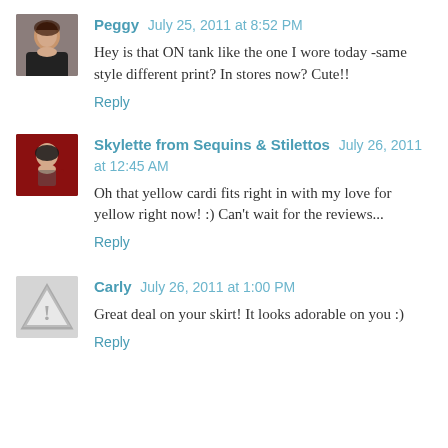[Figure (photo): Avatar photo of Peggy - woman with dark hair]
Peggy July 25, 2011 at 8:52 PM
Hey is that ON tank like the one I wore today -same style different print? In stores now? Cute!!
Reply
[Figure (photo): Avatar photo of Skylette from Sequins & Stilettos - person in red]
Skylette from Sequins & Stilettos July 26, 2011 at 12:45 AM
Oh that yellow cardi fits right in with my love for yellow right now! :) Can't wait for the reviews...
Reply
[Figure (illustration): Default avatar with warning triangle icon]
Carly July 26, 2011 at 1:00 PM
Great deal on your skirt! It looks adorable on you :)
Reply